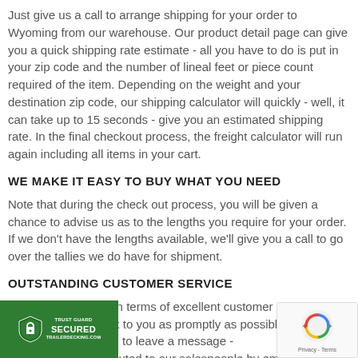Just give us a call to arrange shipping for your order to Wyoming from our warehouse. Our product detail page can give you a quick shipping rate estimate - all you have to do is put in your zip code and the number of lineal feet or piece count required of the item. Depending on the weight and your destination zip code, our shipping calculator will quickly - well, it can take up to 15 seconds - give you an estimated shipping rate. In the final checkout process, the freight calculator will run again including all items in your cart.
WE MAKE IT EASY TO BUY WHAT YOU NEED
Note that during the check out process, you will be given a chance to advise us as to the lengths you require for your order. If we don't have the lengths available, we'll give you a call to go over the tallies we do have for shipment.
OUTSTANDING CUSTOMER SERVICE
We pride ourselves in terms of excellent customer service, we'll always get back to you as promptly as possible. Please don't hesitate to leave a message - messages are distributed to our salespeople by email
[Figure (logo): Trust Guard Secured badge - green shield with padlock icon, text reading TRUST GUARD, SECURED, TRAILERDECKING.COM]
[Figure (logo): reCAPTCHA badge with circular arrow logo and Privacy - Terms links]